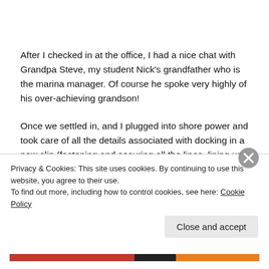After I checked in at the office, I had a nice chat with Grandpa Steve, my student Nick's grandfather who is the marina manager. Of course he spoke very highly of his over-achieving grandson!
Once we settled in, and I plugged into shore power and took care of all the details associated with docking in a new slip (fastening and securing all the lines, lining up the fenders, shutting down the generator and the instruments, washing
Privacy & Cookies: This site uses cookies. By continuing to use this website, you agree to their use.
To find out more, including how to control cookies, see here: Cookie Policy